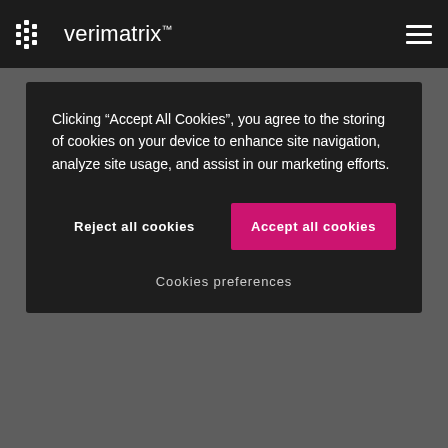Verimatrix
Clicking “Accept All Cookies”, you agree to the storing of cookies on your device to enhance site navigation, analyze site usage, and assist in our marketing efforts.
Reject all cookies
Accept all cookies
Cookies preferences
Server-Side Distribution Watermarking
This cloud service processes the content pre-encoding and seamlessly integrates with your workflow to identify both the source and target of distribution, ensuring traceability of any